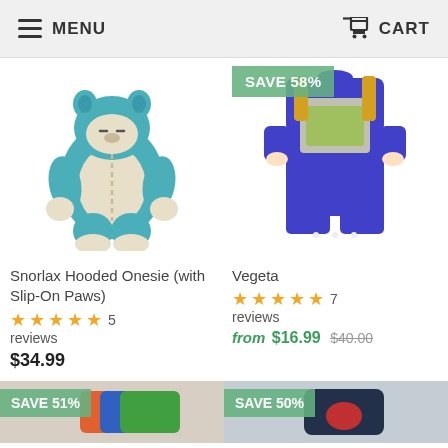MENU   CART
[Figure (photo): Snorlax hooded baby onesie costume with slip-on paws, teal/blue color with cream belly]
Snorlax Hooded Onesie (with Slip-On Paws)
★★★★★ 5 reviews
$34.99
[Figure (photo): Vegeta Dragon Ball Z baby romper, blue short sleeve with armor graphic print, SAVE 58% badge]
Vegeta
★★★★★ 7 reviews
from $16.99  $40.00
[Figure (photo): Partially visible product with SAVE 51% badge, colorful baby clothing]
[Figure (photo): Partially visible product with SAVE 50% badge, dark navy baby clothing]